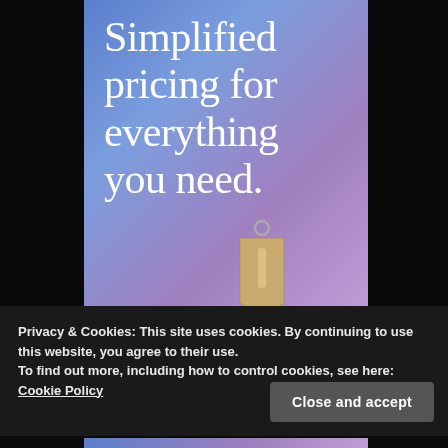[Figure (illustration): Gradient card with blue-to-pink/purple gradient background and a 3D price tag icon (beige/tan colored luggage-style tag with metal ring) in the lower center area.]
Simplified pricing for everything you need.
Privacy & Cookies: This site uses cookies. By continuing to use this website, you agree to their use.
To find out more, including how to control cookies, see here: Cookie Policy
Close and accept